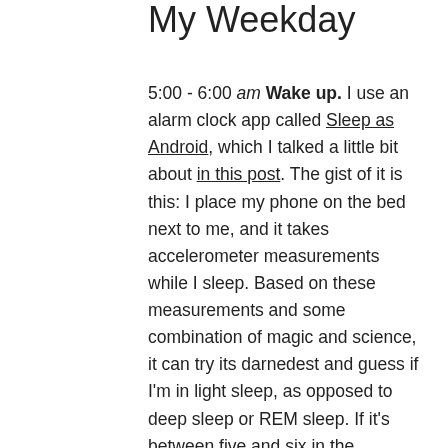My Weekday
5:00 - 6:00 am Wake up. I use an alarm clock app called Sleep as Android, which I talked a little bit about in this post. The gist of it is this: I place my phone on the bed next to me, and it takes accelerometer measurements while I sleep. Based on these measurements and some combination of magic and science, it can try its darnedest and guess if I'm in light sleep, as opposed to deep sleep or REM sleep. If it's between five and six in the morning